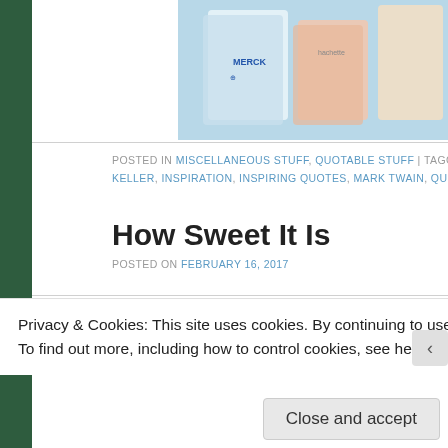[Figure (photo): Merck branded books or cards photo at top right]
POSTED IN MISCELLANEOUS STUFF, QUOTABLE STUFF | TAGGED BIOGRA KELLER, INSPIRATION, INSPIRING QUOTES, MARK TWAIN, QUOTABLE, TH
How Sweet It Is
POSTED ON FEBRUARY 16, 2017
Privacy & Cookies: This site uses cookies. By continuing to use this website, you agree to their use.
To find out more, including how to control cookies, see here: Cookie Policy
Close and accept